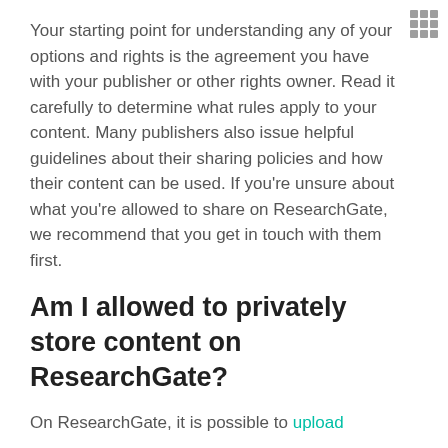Your starting point for understanding any of your options and rights is the agreement you have with your publisher or other rights owner. Read it carefully to determine what rules apply to your content. Many publishers also issue helpful guidelines about their sharing policies and how their content can be used. If you're unsure about what you're allowed to share on ResearchGate, we recommend that you get in touch with them first.
Am I allowed to privately store content on ResearchGate?
On ResearchGate, it is possible to upload